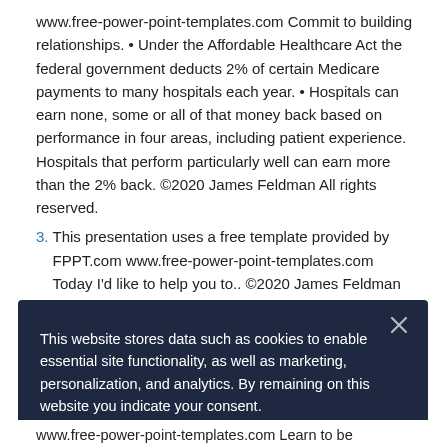www.free-power-point-templates.com Commit to building relationships. • Under the Affordable Healthcare Act the federal government deducts 2% of certain Medicare payments to many hospitals each year. • Hospitals can earn none, some or all of that money back based on performance in four areas, including patient experience. Hospitals that perform particularly well can earn more than the 2% back. ©2020 James Feldman All rights reserved.
3. This presentation uses a free template provided by FPPT.com www.free-power-point-templates.com Today I'd like to help you to.. ©2020 James Feldman All rights reserved.
This website stores data such as cookies to enable essential site functionality, as well as marketing, personalization, and analytics. By remaining on this website you indicate your consent.
Cookie Policy
www.free-power-point-templates.com Learn to be Comfortable